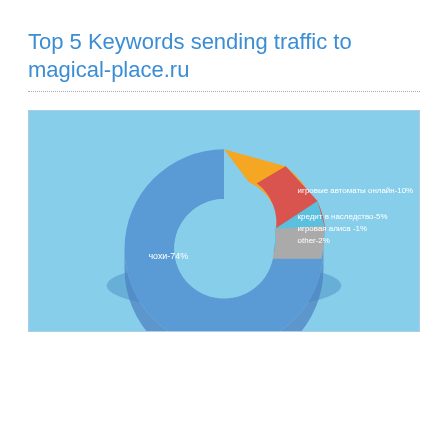Top 5 Keywords sending traffic to magical-place.ru
[Figure (donut-chart): Top 5 Keywords sending traffic to magical-place.ru]